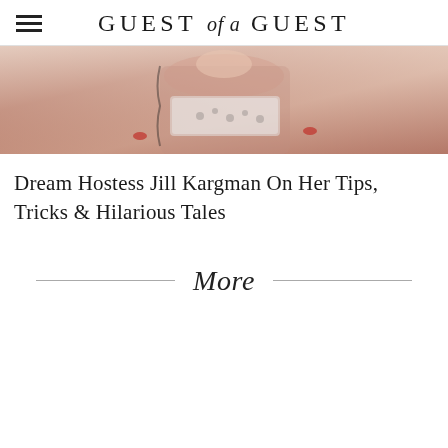GUEST of a GUEST
[Figure (photo): A woman in a decorative blouse holding a clear tray or platter, photographed from mid-torso with red fingernails visible, warm pink and floral tones]
Dream Hostess Jill Kargman On Her Tips, Tricks & Hilarious Tales
More